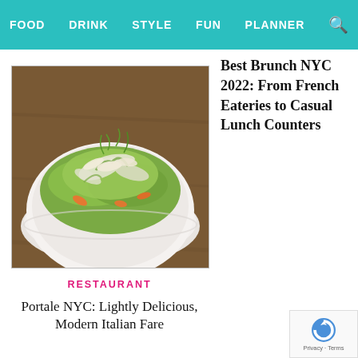FOOD  DRINK  STYLE  FUN  PLANNER
Best Brunch NYC 2022: From French Eateries to Casual Lunch Counters
[Figure (photo): A white bowl filled with a green salad topped with shaved fennel, herbs, carrots, and cheese shavings, on a wooden table]
RESTAURANT
Portale NYC: Lightly Delicious, Modern Italian Fare